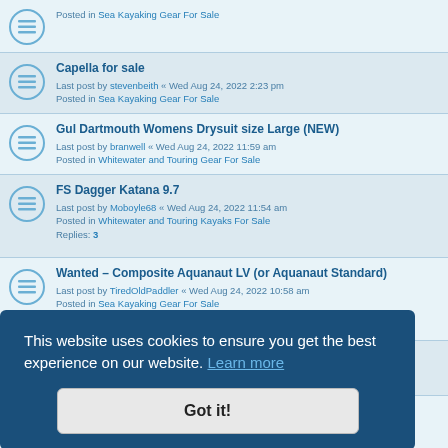Capella for sale
Last post by stevenbeith « Wed Aug 24, 2022 2:23 pm
Posted in Sea Kayaking Gear For Sale
Gul Dartmouth Womens Drysuit size Large (NEW)
Last post by branwell « Wed Aug 24, 2022 11:59 am
Posted in Whitewater and Touring Gear For Sale
FS Dagger Katana 9.7
Last post by Moboyle68 « Wed Aug 24, 2022 11:54 am
Posted in Whitewater and Touring Kayaks For Sale
Replies: 3
Wanted – Composite Aquanaut LV (or Aquanaut Standard)
Last post by TiredOldPaddler « Wed Aug 24, 2022 10:58 am
Posted in Sea Kayaking Gear For Sale
Replies: 2
Wanted LV Composite Sea Kayak 17ft ish
Last post by Jonny_W « Wed Aug 24, 2022 4:37 am
Posted in Sea Kayaking Gear For Sale
Replies: 1
This website uses cookies to ensure you get the best experience on our website. Learn more
Got it!
Lost paddle on the tryweryn
Last post by Pamandave « Tue Aug 23, 2022 2:18 pm